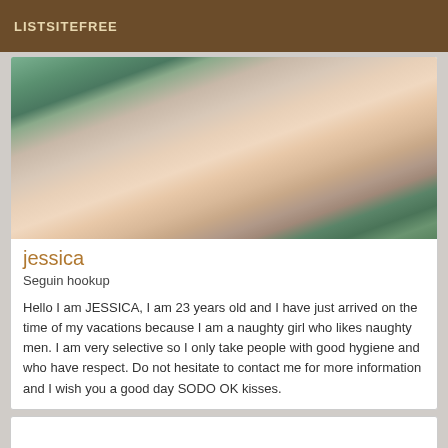LISTSITEFREE
[Figure (photo): Close-up photo showing fabric with green and white stripes and skin, partially cropped]
jessica
Seguin hookup
Hello I am JESSICA, I am 23 years old and I have just arrived on the time of my vacations because I am a naughty girl who likes naughty men. I am very selective so I only take people with good hygiene and who have respect. Do not hesitate to contact me for more information and I wish you a good day SODO OK kisses.